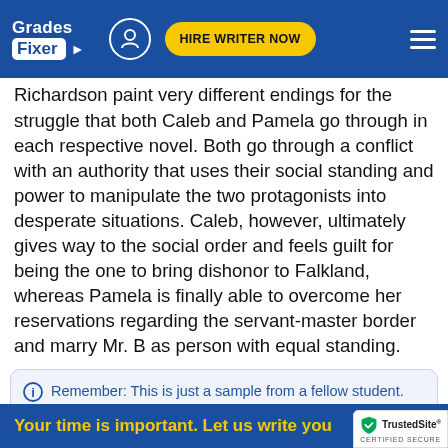Grades Fixer | HIRE WRITER NOW
Richardson paint very different endings for the struggle that both Caleb and Pamela go through in each respective novel. Both go through a conflict with an authority that uses their social standing and power to manipulate the two protagonists into desperate situations. Caleb, however, ultimately gives way to the social order and feels guilt for being the one to bring dishonor to Falkland, whereas Pamela is finally able to overcome her reservations regarding the servant-master border and marry Mr. B as person with equal standing.
Remember: This is just a sample from a fellow student.
Your time is important. Let us write you